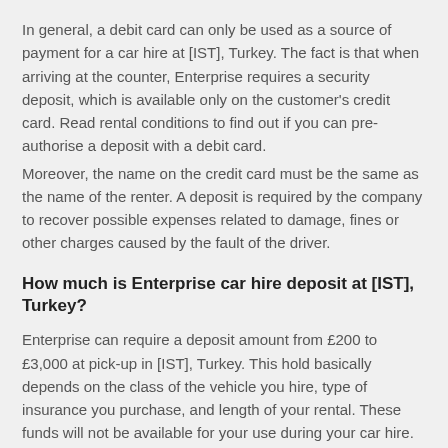In general, a debit card can only be used as a source of payment for a car hire at [IST], Turkey. The fact is that when arriving at the counter, Enterprise requires a security deposit, which is available only on the customer's credit card. Read rental conditions to find out if you can pre-authorise a deposit with a debit card.
Moreover, the name on the credit card must be the same as the name of the renter. A deposit is required by the company to recover possible expenses related to damage, fines or other charges caused by the fault of the driver.
How much is Enterprise car hire deposit at [IST], Turkey?
Enterprise can require a deposit amount from £200 to £3,000 at pick-up in [IST], Turkey. This hold basically depends on the class of the vehicle you hire, type of insurance you purchase, and length of your rental. These funds will not be available for your use during your car hire.
Car hire deposit is a guarantee held on the credit card in the